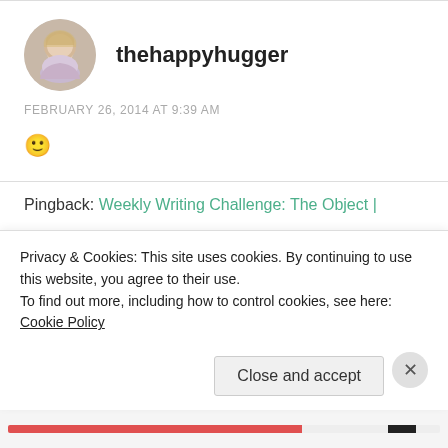[Figure (photo): Circular avatar photo of a blonde woman]
thehappyhugger
FEBRUARY 26, 2014 AT 9:39 AM
🙂
Pingback: Weekly Writing Challenge: The Object |
Privacy & Cookies: This site uses cookies. By continuing to use this website, you agree to their use.
To find out more, including how to control cookies, see here: Cookie Policy
Close and accept